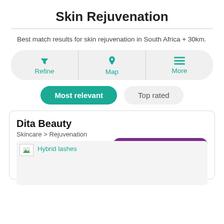Skin Rejuvenation
Best match results for skin rejuvenation in South Africa + 30km.
Refine | Map | More
Most relevant | Top rated
Dita Beauty
Skincare > Rejuvenation
Featured Listing - Bronze
Hybrid lashes